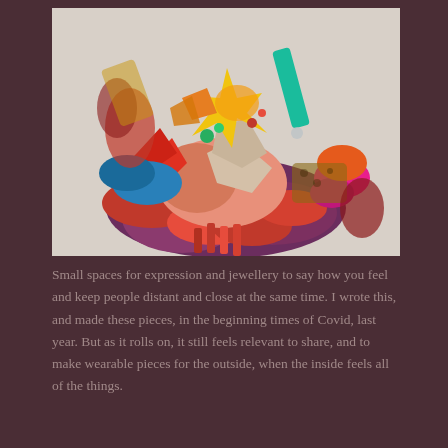[Figure (photo): Close-up photograph of a colorful, textured handmade jewellery piece or brooch made from mixed materials including fabric, yarn, beads, sequins, and various embellishments in red, pink, gold, teal, blue, purple, and other bright colors, photographed against a white background.]
Small spaces for expression and jewellery to say how you feel and keep people distant and close at the same time. I wrote this, and made these pieces, in the beginning times of Covid, last year. But as it rolls on, it still feels relevant to share, and to make wearable pieces for the outside, when the inside feels all of the things.